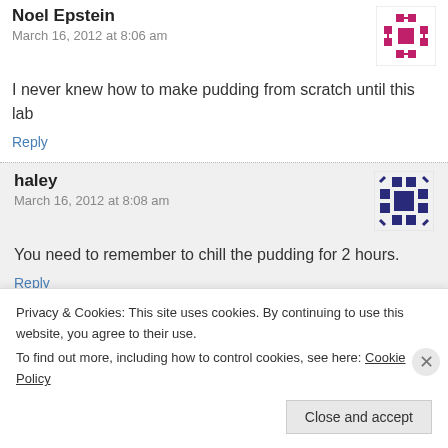Noel Epstein
March 16, 2012 at 8:06 am
I never knew how to make pudding from scratch until this lab
Reply
haley
March 16, 2012 at 8:08 am
You need to remember to chill the pudding for 2 hours.
Reply
Ashton M.- 1st Period
Privacy & Cookies: This site uses cookies. By continuing to use this website, you agree to their use.
To find out more, including how to control cookies, see here: Cookie Policy
Close and accept